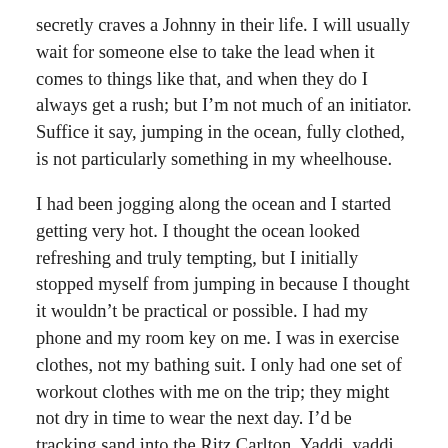secretly craves a Johnny in their life. I will usually wait for someone else to take the lead when it comes to things like that, and when they do I always get a rush; but I'm not much of an initiator. Suffice it say, jumping in the ocean, fully clothed, is not particularly something in my wheelhouse.
I had been jogging along the ocean and I started getting very hot. I thought the ocean looked refreshing and truly tempting, but I initially stopped myself from jumping in because I thought it wouldn't be practical or possible. I had my phone and my room key on me. I was in exercise clothes, not my bathing suit. I only had one set of workout clothes with me on the trip; they might not dry in time to wear the next day. I'd be tracking sand into the Ritz Carlton. Yaddi, yaddi, yadda.
You can't just jump in the ocean, silly.
With all the excuses in mind, at times I also started